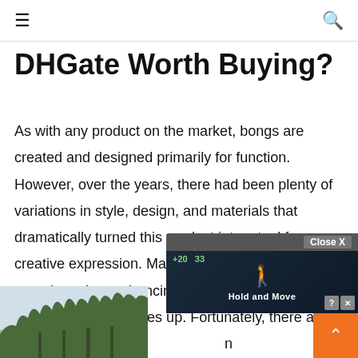≡  🔍
DHGate Worth Buying?
As with any product on the market, bongs are created and designed primarily for function. However, over the years, there had been plenty of variations in style, design, and materials that dramatically turned this product into a tool for creative expression. Manufacturers began experimenting, enhancing features and aesthetics, thus pushing the prices up. Fortunately, there are still companies that remain in consic... r
[Figure (screenshot): Ad overlay showing a mobile game 'Hold and Move' with close button, help and close icons, and score display. Partially overlaid on the article text.]
[Figure (photo): Partial photo visible at the bottom left, showing trees against a winter sky.]